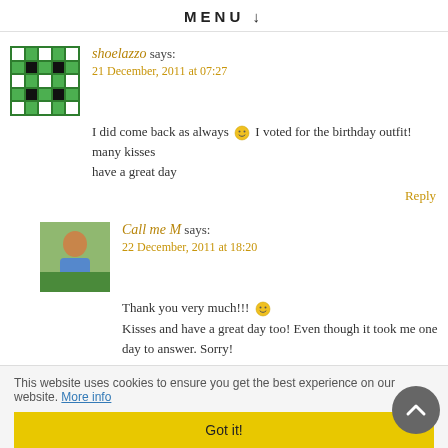MENU ↓
shoelazzo says: 21 December, 2011 at 07:27
I did come back as always 🙂 I voted for the birthday outfit! many kisses have a great day
Reply
Call me M says: 22 December, 2011 at 18:20
Thank you very much!!! 🙂 Kisses and have a great day too! Even though it took me one day to answer. Sorry!
Reply
This website uses cookies to ensure you get the best experience on our website. More info Got it!